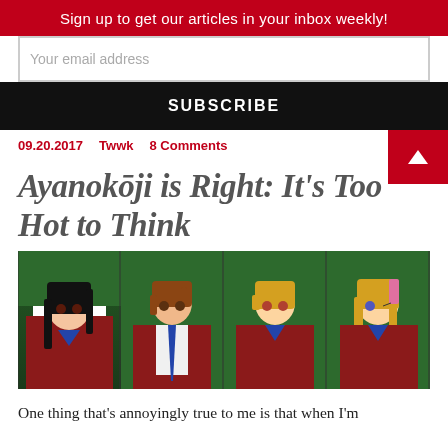Sign up to get our articles in your inbox weekly!
Your email address
SUBSCRIBE
09.20.2017   Twwk   8 Comments
Ayanokōji is Right: It's Too Hot to Think
[Figure (illustration): Four anime characters in red school uniforms side by side: a dark-haired girl, a brown-haired boy with blue tie, a short blonde girl, and a blonde girl winking.]
One thing that's annoyingly true to me is that when I'm